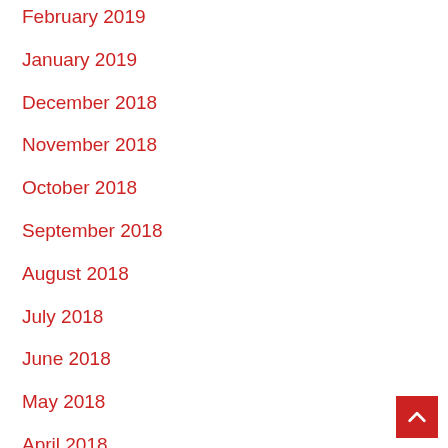February 2019
January 2019
December 2018
November 2018
October 2018
September 2018
August 2018
July 2018
June 2018
May 2018
April 2018
March 2018
February 2018